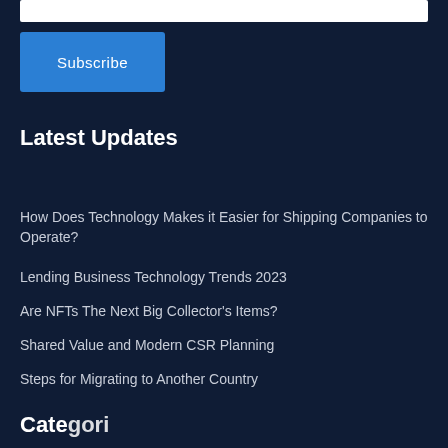[Figure (other): White input bar at top of page]
Subscribe
Latest Updates
How Does Technology Makes it Easier for Shipping Companies to Operate?
Lending Business Technology Trends 2023
Are NFTs The Next Big Collector's Items?
Shared Value and Modern CSR Planning
Steps for Migrating to Another Country
Categories